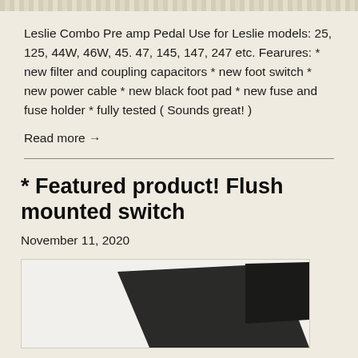[Figure (photo): Top strip showing partial view of keyboard/organ keys background image]
Leslie Combo Pre amp Pedal Use for Leslie models: 25, 125, 44W, 46W, 45. 47, 145, 147, 247 etc. Fearures: * new filter and coupling capacitors * new foot switch * new power cable * new black foot pad * new fuse and fuse holder * fully tested ( Sounds great! )
Read more →
* Featured product! Flush mounted switch
November 11, 2020
[Figure (photo): Product photo showing a flush mounted switch, dark/black rectangular device on light background]